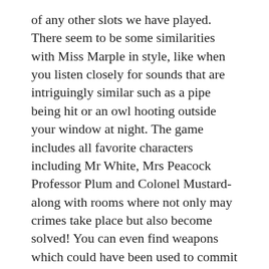of any other slots we have played. There seem to be some similarities with Miss Marple in style, like when you listen closely for sounds that are intriguingly similar such as a pipe being hit or an owl hooting outside your window at night. The game includes all favorite characters including Mr White, Mrs Peacock Professor Plum and Colonel Mustard- along with rooms where not only may crimes take place but also become solved! You can even find weapons which could have been used to commit this crime like lead pipes?
You have an opportunity to make some extra cash during the game if you're good at solving crimes. Try and guess who committed a crime, where they did it, or with what weapon when prompted for bonus rounds. If your three